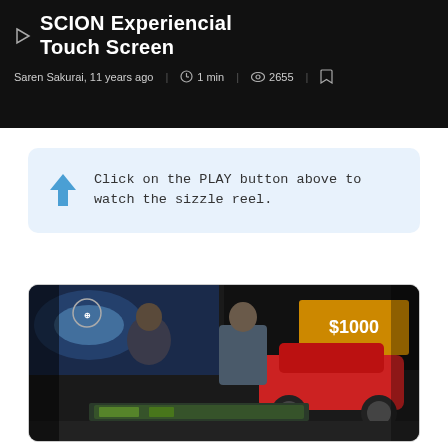SCION Experiencial Touch Screen
Saren Sakurai, 11 years ago  |  1 min  |  2655  |
Click on the PLAY button above to watch the sizzle reel.
[Figure (photo): Photo of people gathered around a large touch screen display at a Scion automotive show event, with a red Scion car and large promotional screens in the background, including a '$1000' sign.]